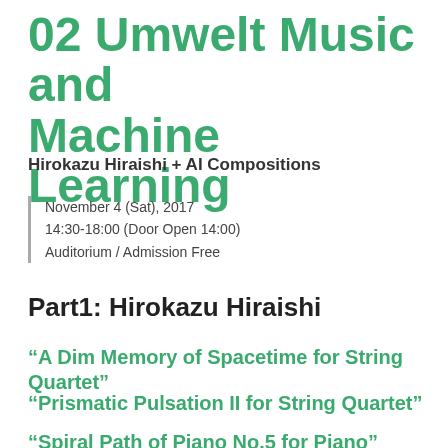02 Umwelt Music and Machine Learning
Hirokazu Hiraishi + AI Compositions
November 4 (Sat), 2017
14:30-18:00 (Door Open 14:00)
Auditorium / Admission Free
Part1: Hirokazu Hiraishi
“A Dim Memory of Spacetime for String Quartet”
“Prismatic Pulsation II for String Quartet”
“Spiral Path of Piano No.5 for Piano”